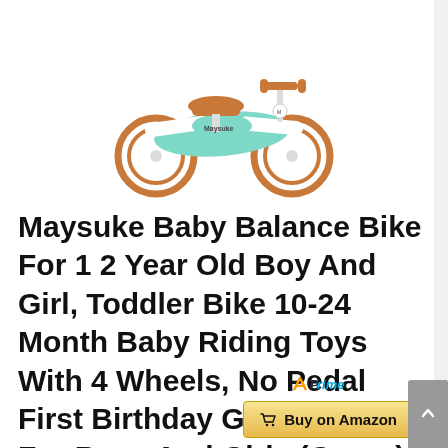[Figure (photo): A Maysuke baby balance bike with 4 wheels in white and mint green color with orange/brown seat and handles]
Maysuke Baby Balance Bike For 1 2 Year Old Boy And Girl, Toddler Bike 10-24 Month Baby Riding Toys With 4 Wheels, No Pedal First Birthday Gift Christmas For Boys And Girls (Green)
[Figure (logo): Amazon Prime badge with orange checkmark and Prime text in blue]
Buy on Amazon